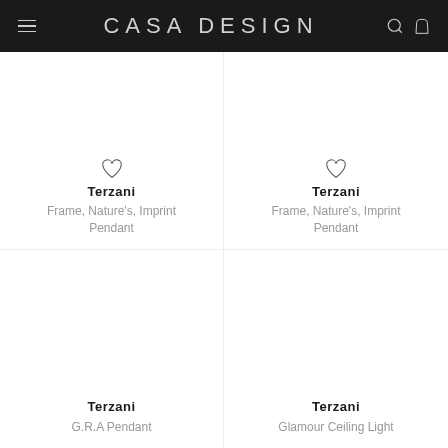CASA DESIGN
Terzani
Frame, Nature's, Imprint Pendant
Terzani
Frame, Nature's, Imprint Pendant
Terzani
G.R.A Pendant
Terzani
Glamour Ceiling Light